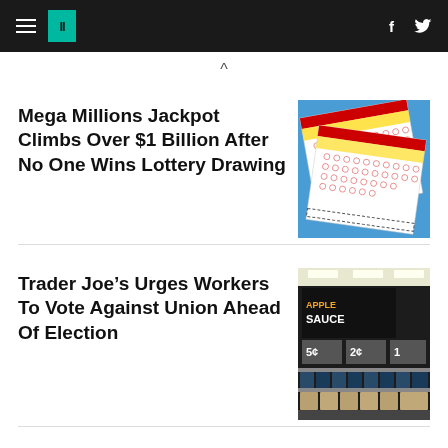HuffPost navigation bar with hamburger menu, logo, Facebook and Twitter icons
Mega Millions Jackpot Climbs Over $1 Billion After No One Wins Lottery Drawing
[Figure (photo): Mega Millions lottery ticket sheets on a blue surface]
Trader Joe’s Urges Workers To Vote Against Union Ahead Of Election
[Figure (photo): Inside a Trader Joe’s store showing Apple Sauce sign and shelving with products]